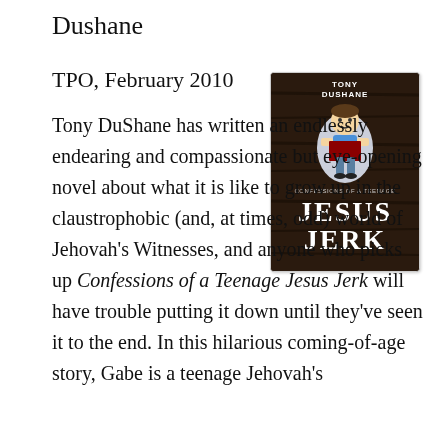Dushane
TPO, February 2010
[Figure (photo): Book cover of 'Confessions of a Teenage Jesus Jerk' by Tony DuShane. Dark brown wooden background with a cartoon illustration of a boy and the title text 'Jesus Jerk' in large white letters, with 'Confessions of a Teenage' in smaller text above.]
Tony DuShane has written an endlessly endearing and compassionate but eye-opening novel about what it is like to grow up in the claustrophobic (and, at times, odd) world of Jehovah's Witnesses, and anyone who picks up Confessions of a Teenage Jesus Jerk will have trouble putting it down until they've seen it to the end. In this hilarious coming-of-age story, Gabe is a teenage Jehovah's Witness...